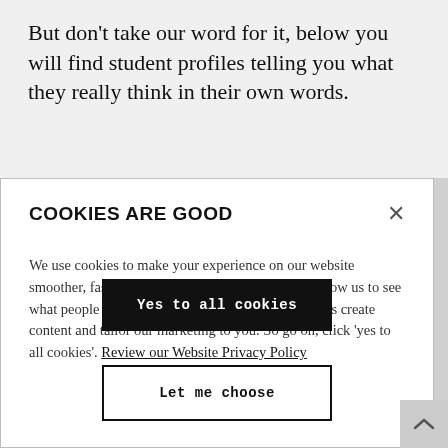But don't take our word for it, below you will find student profiles telling you what they really think in their own words.
COOKIES ARE GOOD
We use cookies to make your experience on our website smoother, faster and more relevant. Cookies also allow us to see what people do when they are on our site and help us create content and tailor our marketing to you. So go on, click 'yes to all cookies'. Review our Website Privacy Policy
Yes to all cookies
Let me choose